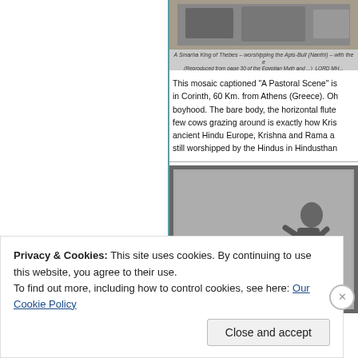[Figure (photo): Top strip showing a historical image of a Smarha King of Thebes worshipping the Apis Bull (Nanthi) with caption text]
A Smarha King of Thebes – worshipping the Apis-Bull (Nanthi) – with the e... (Reproduced from page 30 of the Egyptian Myth and ...) LORD MH...
This mosaic captioned "A Pastoral Scene" is in Corinth, 60 Km. from Athens (Greece). Oh boyhood. The bare body, the horizontal flute few cows grazing around is exactly how Kris ancient Hindu Europe, Krishna and Rama a still worshipped by the Hindus in Hindusthan
[Figure (photo): Black and white mosaic image showing a pastoral scene with a bare-bodied figure playing a horizontal flute, with cows grazing around him, from Corinth, Greece]
Privacy & Cookies: This site uses cookies. By continuing to use this website, you agree to their use.
To find out more, including how to control cookies, see here: Our Cookie Policy
Close and accept